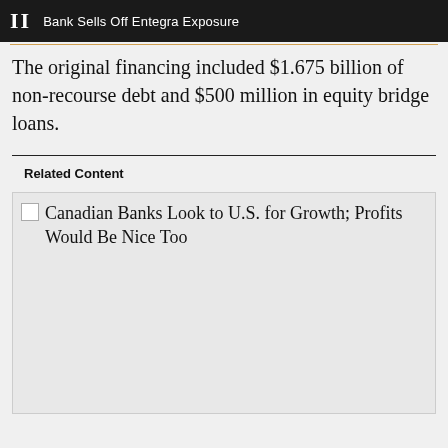II  Bank Sells Off Entegra Exposure
The original financing included $1.675 billion of non-recourse debt and $500 million in equity bridge loans.
Related Content
[Figure (photo): Broken/placeholder image for article: Canadian Banks Look to U.S. for Growth; Profits Would Be Nice Too]